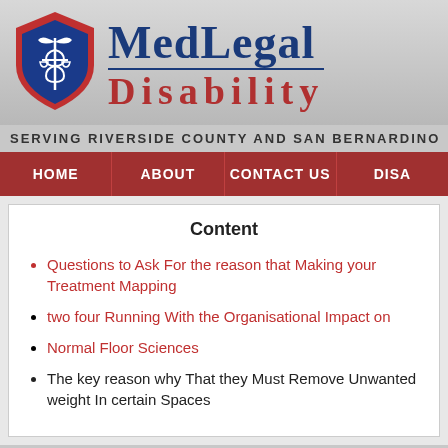[Figure (logo): MedLegal Disability logo with blue and red shield containing caduceus and scales of justice, next to 'MedLegal Disability' text in navy and red]
SERVING RIVERSIDE COUNTY AND SAN BERNARDINO
HOME | ABOUT | CONTACT US | DISA
Content
Questions to Ask For the reason that Making your Treatment Mapping
two four Running With the Organisational Impact on
Normal Floor Sciences
The key reason why That they Must Remove Unwanted weight In certain Spaces